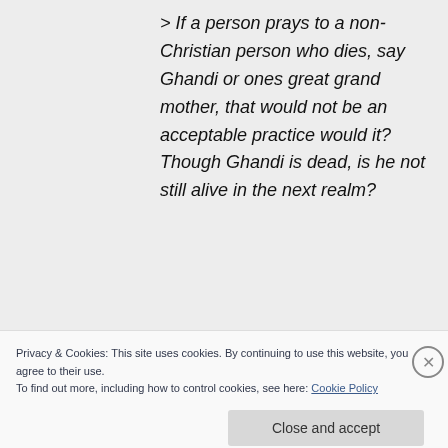> If a person prays to a non-Christian person who dies, say Ghandi or ones great grand mother, that would not be an acceptable practice would it? Though Ghandi is dead, is he not still alive in the next realm?
Not really, but it rather depends upon the state of
Privacy & Cookies: This site uses cookies. By continuing to use this website, you agree to their use.
To find out more, including how to control cookies, see here: Cookie Policy
Close and accept